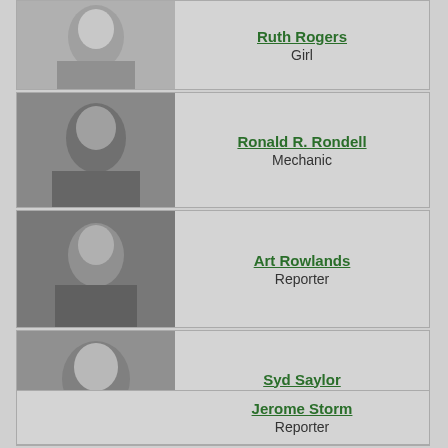[Figure (photo): Black and white photo of Ruth Rogers]
Ruth Rogers
Girl
[Figure (photo): Black and white photo of Ronald R. Rondell]
Ronald R. Rondell
Mechanic
[Figure (photo): Black and white photo of Art Rowlands]
Art Rowlands
Reporter
[Figure (photo): Black and white photo of Syd Saylor]
Syd Saylor
Jimmy
Jerome Storm
Reporter
[Figure (photo): Black and white photo (partial) at bottom]